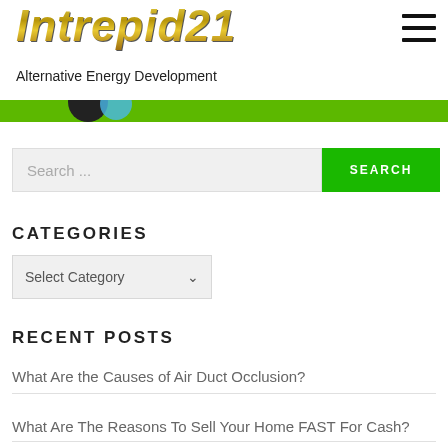[Figure (logo): Intrepid21 logo in gold italic stylized font with drop shadow]
Alternative Energy Development
[Figure (other): Green banner strip with partial circular image elements]
Search ...
SEARCH
CATEGORIES
Select Category
RECENT POSTS
What Are the Causes of Air Duct Occlusion?
What Are The Reasons To Sell Your Home FAST For Cash?